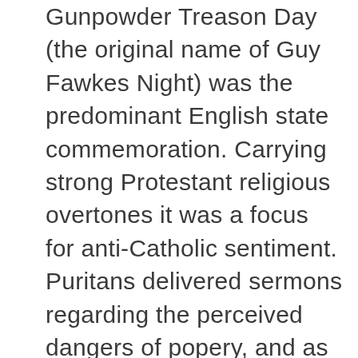Gunpowder Treason Day (the original name of Guy Fawkes Night) was the predominant English state commemoration. Carrying strong Protestant religious overtones it was a focus for anti-Catholic sentiment. Puritans delivered sermons regarding the perceived dangers of popery, and as part of increasingly raucous celebrations effigies of popular hate-figures, such as the pope, were burnt. By the end of the 18th century children begged for money